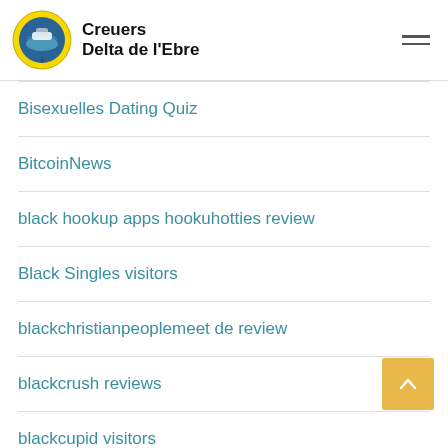Creuers Delta de l'Ebre
Bisexuelles Dating Quiz
BitcoinNews
black hookup apps hookuhotties review
Black Singles visitors
blackchristianpeoplemeet de review
blackcrush reviews
blackcupid visitors
Blackdatingforfree find